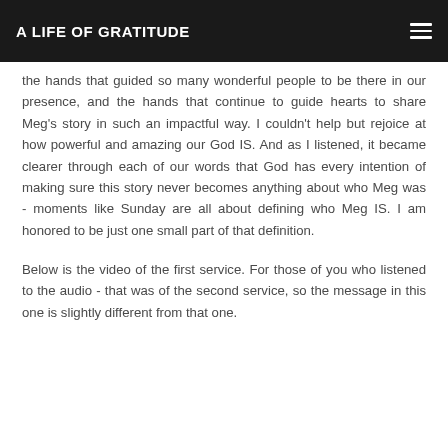A LIFE OF GRATITUDE
the hands that guided so many wonderful people to be there in our presence, and the hands that continue to guide hearts to share Meg's story in such an impactful way. I couldn't help but rejoice at how powerful and amazing our God IS. And as I listened, it became clearer through each of our words that God has every intention of making sure this story never becomes anything about who Meg was - moments like Sunday are all about defining who Meg IS. I am honored to be just one small part of that definition.
Below is the video of the first service. For those of you who listened to the audio - that was of the second service, so the message in this one is slightly different from that one.